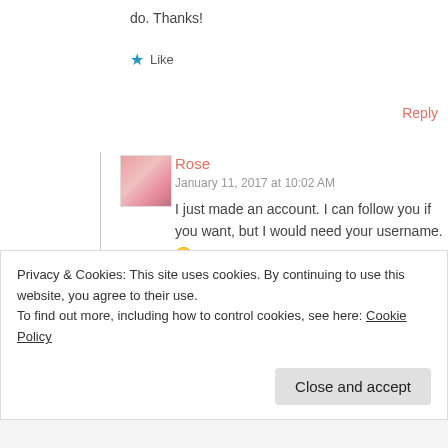do. Thanks!
★ Like
Reply
Rose
January 11, 2017 at 10:02 AM
I just made an account. I can follow you if you want, but I would need your username. 🙂
Privacy & Cookies: This site uses cookies. By continuing to use this website, you agree to their use.
To find out more, including how to control cookies, see here: Cookie Policy
Close and accept